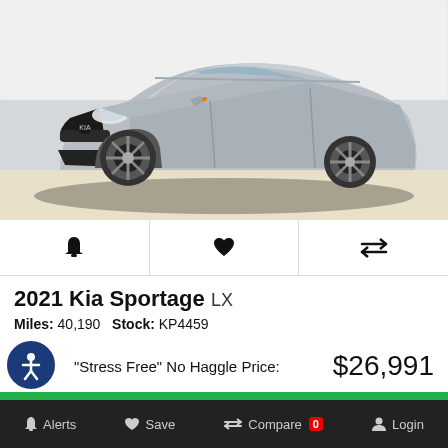[Figure (photo): Silver 2021 Kia Sportage SUV photographed from front-quarter angle in a dealership lot with white brick wall background]
[Figure (infographic): Icon bar with three icons: bell/alert, heart/save, and compare arrows]
2021 Kia Sportage LX
Miles: 40,190   Stock: KP4459
"Stress Free" No Haggle Price:   $26,991
Claim   Live Chat   Text Us
Alerts   Save   Compare 0   Login